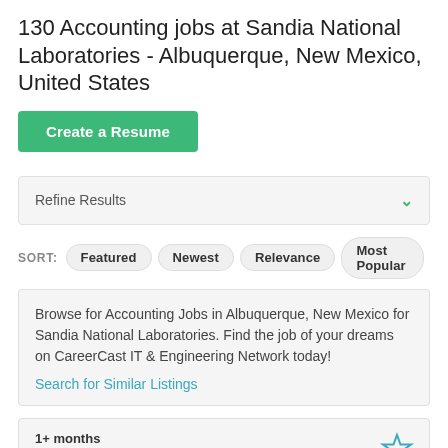130 Accounting jobs at Sandia National Laboratories - Albuquerque, New Mexico, United States
Create a Resume
Refine Results
SORT: Featured Newest Relevance Most Popular
Browse for Accounting Jobs in Albuquerque, New Mexico for Sandia National Laboratories. Find the job of your dreams on CareerCast IT & Engineering Network today!
Search for Similar Listings
1+ months
FPGA Firmware Design